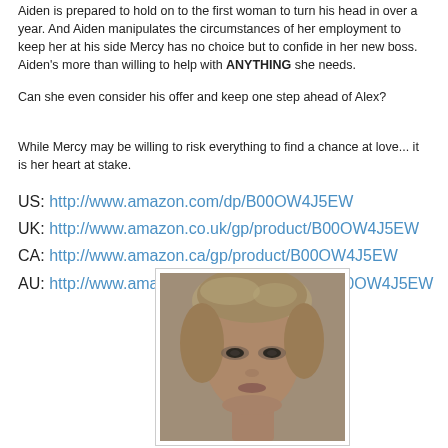Aiden is prepared to hold on to the first woman to turn his head in over a year. And Aiden manipulates the circumstances of her employment to keep her at his side Mercy has no choice but to confide in her new boss. Aiden's more than willing to help with ANYTHING she needs.
Can she even consider his offer and keep one step ahead of Alex?
While Mercy may be willing to risk everything to find a chance at love... it is her heart at stake.
US: http://www.amazon.com/dp/B00OW4J5EW
UK: http://www.amazon.co.uk/gp/product/B00OW4J5EW
CA: http://www.amazon.ca/gp/product/B00OW4J5EW
AU: http://www.amazon.com.au/gp/product/B00OW4J5EW
[Figure (photo): Portrait photo of a woman with short blonde hair, teal/sepia toned.]